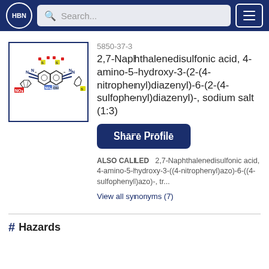HBN | Search... | menu
[Figure (illustration): Chemical structure diagram of 2,7-Naphthalenedisulfonic acid compound showing colored atoms (red, blue, yellow) and aromatic rings with NO2 and SO3 groups]
5850-37-3
2,7-Naphthalenedisulfonic acid, 4-amino-5-hydroxy-3-(2-(4-nitrophenyl)diazenyl)-6-(2-(4-sulfophenyl)diazenyl)-, sodium salt (1:3)
Share Profile
ALSO CALLED   2,7-Naphthalenedisulfonic acid, 4-amino-5-hydroxy-3-((4-nitrophenyl)azo)-6-((4-sulfophenyl)azo)-, tr...
View all synonyms (7)
# Hazards